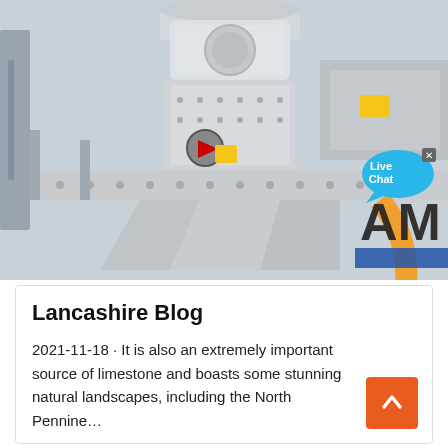[Figure (photo): Industrial crusher/VSI sand making machine, large white metal industrial equipment with conical hoppers at bottom, photographed in black and white with orange brand logo partially visible on right side. A 'Live Chat' speech bubble overlay appears in the top right area.]
Lancashire Blog
2021-11-18 · It is also an extremely important source of limestone and boasts some stunning natural landscapes, including the North Pennine...